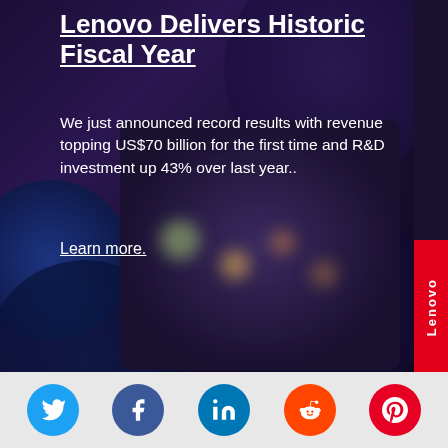Lenovo Delivers Historic Fiscal Year
We just announced record results with revenue topping US$70 billion for the first time and R&D investment up 43% over last year..
Learn more.
[Figure (photo): Dark background portrait of a bearded man in a blue shirt with bokeh lighting, overlaid with text and Lenovo branding tab on the right side]
[Figure (infographic): Social media share buttons row: Twitter (blue), Facebook (dark blue), LinkedIn (light blue), Reddit (orange), Pinterest (red)]